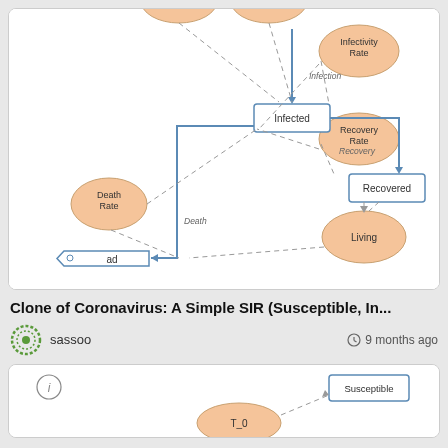[Figure (flowchart): SIR model flowchart showing nodes: Infected (rectangle), Recovered (rectangle), Living (ellipse), Death Rate (ellipse), Recovery Rate (ellipse), Infectivity Rate (ellipse), and a tag/load node. Solid arrows connect main flow; dashed arrows show rate influences. Labels on arrows: Infection, Recovery, Death.]
Clone of Coronavirus: A Simple SIR (Susceptible, In...
sassoo
9 months ago
[Figure (flowchart): Partial SIR model diagram showing Susceptible rectangle node and T_0 ellipse node with dashed arrow connections. Info icon visible top-left.]